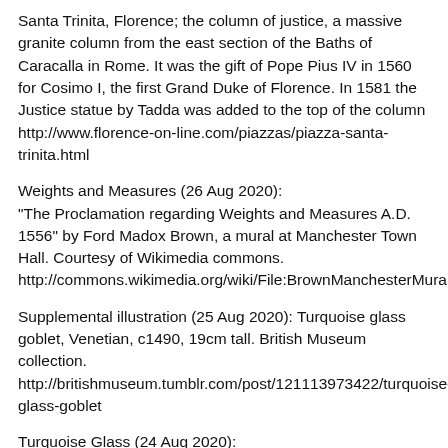Santa Trinita, Florence; the column of justice, a massive granite column from the east section of the Baths of Caracalla in Rome. It was the gift of Pope Pius IV in 1560 for Cosimo I, the first Grand Duke of Florence. In 1581 the Justice statue by Tadda was added to the top of the column http://www.florence-on-line.com/piazzas/piazza-santa-trinita.html
Weights and Measures (26 Aug 2020): "The Proclamation regarding Weights and Measures A.D. 1556" by Ford Madox Brown, a mural at Manchester Town Hall. Courtesy of Wikimedia commons. http://commons.wikimedia.org/wiki/File:BrownManchesterMuralProclamation.jpg
Supplemental illustration (25 Aug 2020): Turquoise glass goblet, Venetian, c1490, 19cm tall. British Museum collection. http://britishmuseum.tumblr.com/post/121113973422/turquoise-glass-goblet
Turquoise Glass (24 Aug 2020):